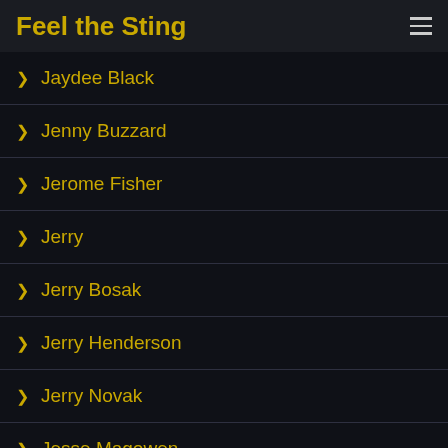Feel the Sting
Jaydee Black
Jenny Buzzard
Jerome Fisher
Jerry
Jerry Bosak
Jerry Henderson
Jerry Novak
Jesse Magowen
Jimmy Evans
Jimmy Green
Jimmy's Day Off
Jirka Mondez